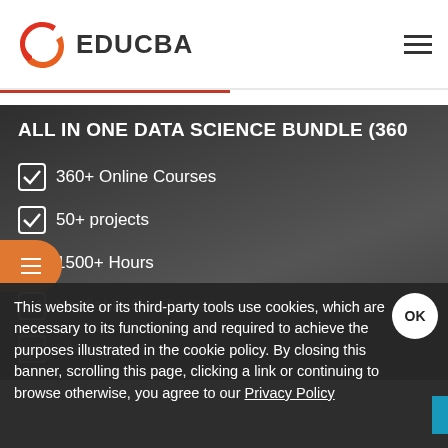[Figure (logo): EDUCBA logo — red play button icon with EDUCBA text]
[Figure (screenshot): ALL IN ONE DATA SCIENCE BUNDLE (360...) hero banner with checklist items on dark background: 360+ Online Courses, 50+ projects, 1500+ Hours, Verifiable Certificates, Lifetime Access (partially visible)]
This website or its third-party tools use cookies, which are necessary to its functioning and required to achieve the purposes illustrated in the cookie policy. By closing this banner, scrolling this page, clicking a link or continuing to browse otherwise, you agree to our Privacy Policy